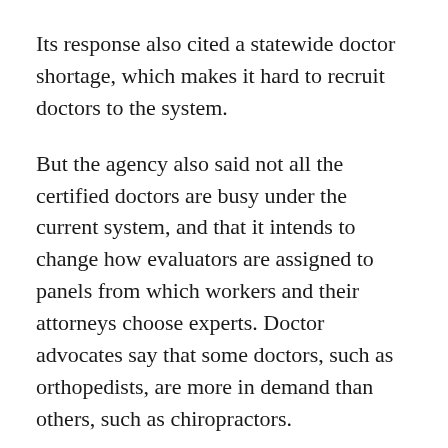Its response also cited a statewide doctor shortage, which makes it hard to recruit doctors to the system.
But the agency also said not all the certified doctors are busy under the current system, and that it intends to change how evaluators are assigned to panels from which workers and their attorneys choose experts. Doctor advocates say that some doctors, such as orthopedists, are more in demand than others, such as chiropractors.
The agency also wrote that it would review its disciplinary procedures and notify doctors earlier in the process if it suspected billing violations.
A 2018 review by the Rand Corp. recommended that